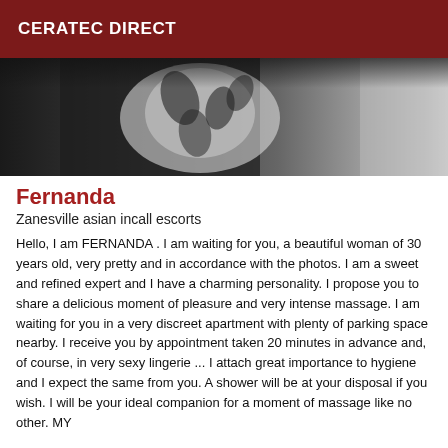CERATEC DIRECT
[Figure (photo): Partial photo of a person wearing a dark jacket with floral/leaf pattern, cropped to show torso/upper body area]
Fernanda
Zanesville asian incall escorts
Hello, I am FERNANDA . I am waiting for you, a beautiful woman of 30 years old, very pretty and in accordance with the photos. I am a sweet and refined expert and I have a charming personality. I propose you to share a delicious moment of pleasure and very intense massage. I am waiting for you in a very discreet apartment with plenty of parking space nearby. I receive you by appointment taken 20 minutes in advance and, of course, in very sexy lingerie ... I attach great importance to hygiene and I expect the same from you. A shower will be at your disposal if you wish. I will be your ideal companion for a moment of massage like no other. MY